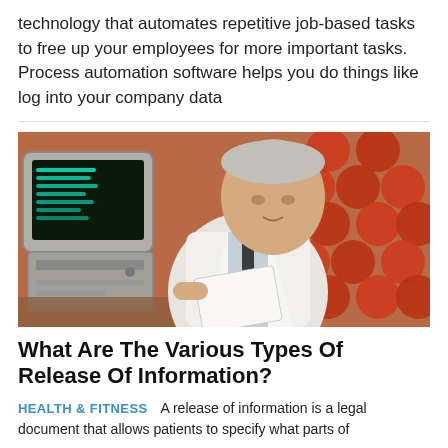technology that automates repetitive job-based tasks to free up your employees for more important tasks. Process automation software helps you do things like log into your company data
[Figure (photo): A man in a white lab coat looking at papers in front of a vintage computer terminal with red patterned curtains in the background]
What Are The Various Types Of Release Of Information?
HEALTH & FITNESS  A release of information is a legal document that allows patients to specify what parts of